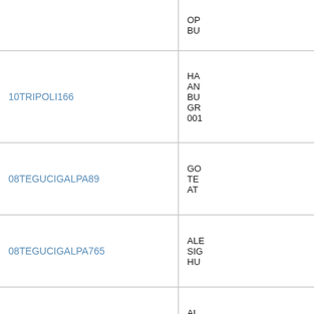| Reference | Subject/Tags |
| --- | --- |
|  | OP...
BU... |
| 10TRIPOLI166 | HA...
AN...
BU...
GR...
001... |
| 08TEGUCIGALPA89 | GO...
TE...
AT... |
| 08TEGUCIGALPA765 | ALE...
SIG...
HU... |
| 10TEGUCIGALPA160 | AL...
CO...
DA... |
| 06SAOPAULO357 | ITA...
TA...
BR... |